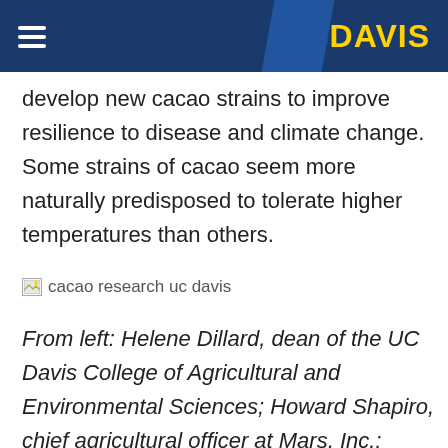UC DAVIS
develop new cacao strains to improve resilience to disease and climate change. Some strains of cacao seem more naturally predisposed to tolerate higher temperatures than others.
[Figure (photo): cacao research uc davis — broken/missing image placeholder with alt text]
From left: Helene Dillard, dean of the UC Davis College of Agricultural and Environmental Sciences; Howard Shapiro, chief agricultural officer at Mars, Inc.;